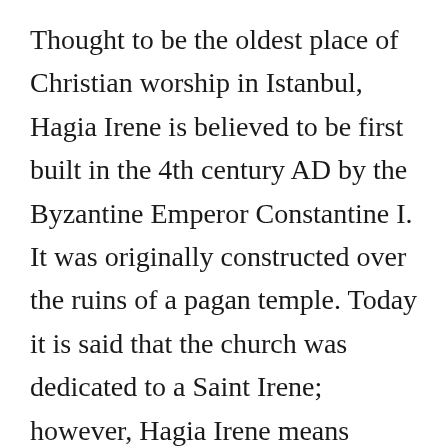Thought to be the oldest place of Christian worship in Istanbul, Hagia Irene is believed to be first built in the 4th century AD by the Byzantine Emperor Constantine I. It was originally constructed over the ruins of a pagan temple. Today it is said that the church was dedicated to a Saint Irene; however, Hagia Irene means "Divine Peace" in Greek, so it there is no such Saint in this story. Before the Hagia Sophia, The Hagia Irene served as the church of the Patriarchate...